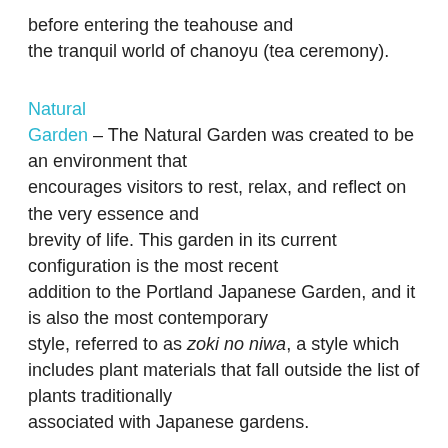before entering the teahouse and the tranquil world of chanoyu (tea ceremony).
Natural
Garden – The Natural Garden was created to be an environment that encourages visitors to rest, relax, and reflect on the very essence and brevity of life. This garden in its current configuration is the most recent addition to the Portland Japanese Garden, and it is also the most contemporary style, referred to as zoki no niwa, a style which includes plant materials that fall outside the list of plants traditionally associated with Japanese gardens.
Sand